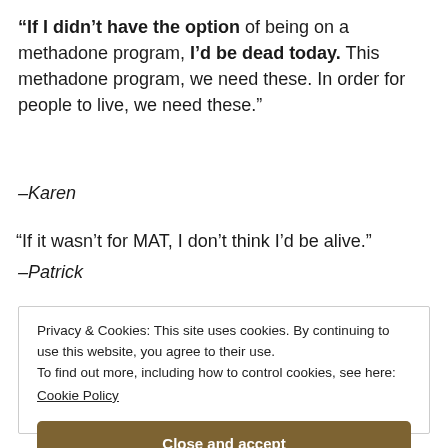“If I didn’t have the option of being on a methadone program, I’d be dead today. This methadone program, we need these. In order for people to live, we need these.”
–Karen
“If it wasn’t for MAT, I don’t think I’d be alive.”
–Patrick
Privacy & Cookies: This site uses cookies. By continuing to use this website, you agree to their use.
To find out more, including how to control cookies, see here:
Cookie Policy

Close and accept